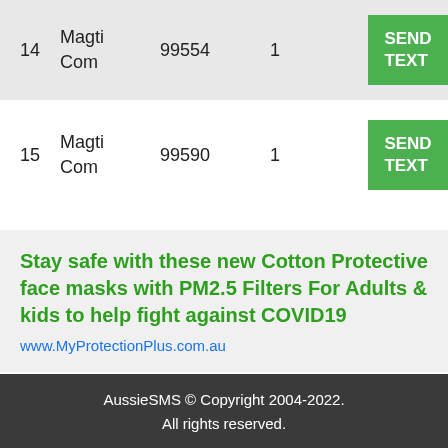| # | Name | Code | Count | Action |
| --- | --- | --- | --- | --- |
| 14 | Magti Com | 99554 | 1 | SEND TEXT |
| 15 | Magti Com | 99590 | 1 | SEND TEXT |
Stay safe with these new Cotton Protective face masks with PM2.5 Filters For Adults & kids to help fight against COVID19
www.MyProtectionPlus.com.au
AussieSMS © Copyright 2004-2022. All rights reserved.